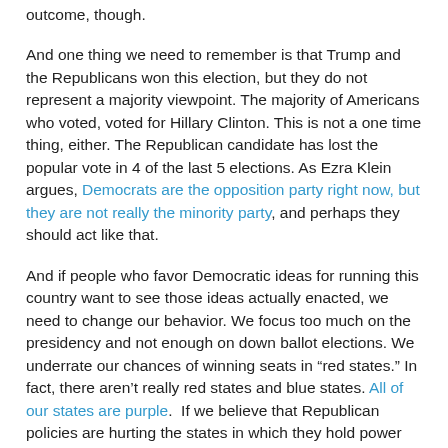outcome, though.
And one thing we need to remember is that Trump and the Republicans won this election, but they do not represent a majority viewpoint. The majority of Americans who voted, voted for Hillary Clinton. This is not a one time thing, either. The Republican candidate has lost the popular vote in 4 of the last 5 elections. As Ezra Klein argues, Democrats are the opposition party right now, but they are not really the minority party, and perhaps they should act like that.
And if people who favor Democratic ideas for running this country want to see those ideas actually enacted, we need to change our behavior. We focus too much on the presidency and not enough on down ballot elections. We underrate our chances of winning seats in "red states." In fact, there aren't really red states and blue states. All of our states are purple. If we believe that Republican policies are hurting the states in which they hold power (and I do: look at what happened in Kansas and Louisiana), then the right thing to do is to field strong candidates in those states to make the case to those voters.